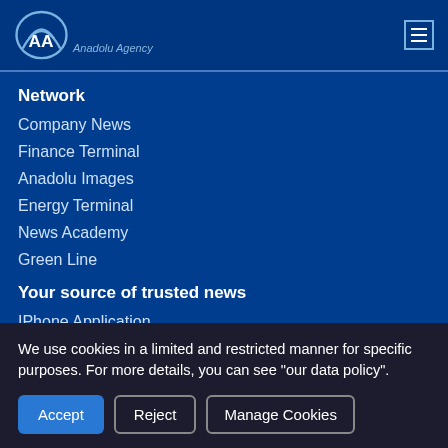Anadolu Agency - Navigation menu header with logo
Network
Company News
Finance Terminal
Anadolu Images
Energy Terminal
News Academy
Green Line
Your source of trusted news
IPhone Application
IPad Application
We use cookies in a limited and restricted manner for specific purposes. For more details, you can see "our data policy".
Accept | Reject | Manage Cookies